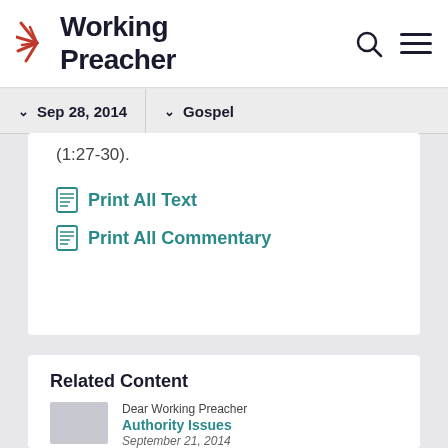[Figure (logo): Working Preacher logo with starburst icon and bold text]
Sep 28, 2014   Gospel
(1:27-30).
Print All Text
Print All Commentary
Related Content
Dear Working Preacher
Authority Issues
September 21, 2014